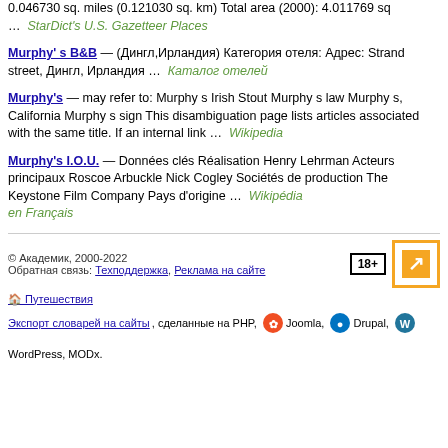0.046730 sq. miles (0.121030 sq. km) Total area (2000): 4.011769 sq … StarDict's U.S. Gazetteer Places
Murphy' s B&B — (Дингл,Ирландия) Категория отеля: Адрес: Strand street, Дингл, Ирландия … Каталог отелей
Murphy's — may refer to: Murphy s Irish Stout Murphy s law Murphy s, California Murphy s sign This disambiguation page lists articles associated with the same title. If an internal link … Wikipedia
Murphy's I.O.U. — Données clés Réalisation Henry Lehrman Acteurs principaux Roscoe Arbuckle Nick Cogley Sociétés de production The Keystone Film Company Pays d'origine … Wikipédia en Français
© Академик, 2000-2022
Обратная связь: Техподдержка, Реклама на сайте
🏠 Путешествия
Экспорт словарей на сайты, сделанные на PHP, Joomla, Drupal, WordPress, MODx.